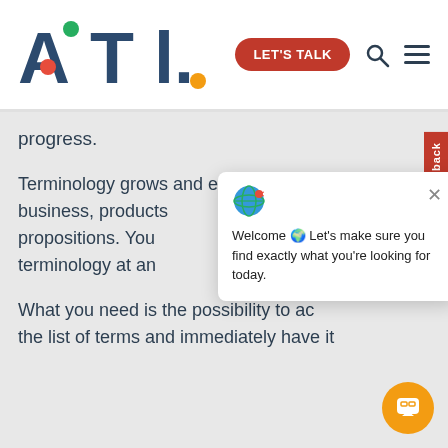[Figure (logo): ATL logo with colorful dots and 'LET'S TALK' button, search icon, and hamburger menu]
progress.
Terminology grows and evolves with your business, products propositions. You terminology at an
[Figure (screenshot): Chat popup with globe emoji, close X, and message: Welcome Let's make sure you find exactly what you're looking for today.]
What you need is the possibility to ac the list of terms and immediately have it